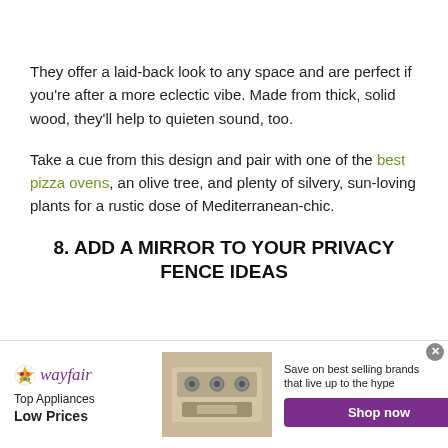They offer a laid-back look to any space and are perfect if you're after a more eclectic vibe. Made from thick, solid wood, they'll help to quieten sound, too.
Take a cue from this design and pair with one of the best pizza ovens, an olive tree, and plenty of silvery, sun-loving plants for a rustic dose of Mediterranean-chic.
8. ADD A MIRROR TO YOUR PRIVACY FENCE IDEAS
[Figure (other): Wayfair advertisement banner with logo, 'Top Appliances Low Prices' tagline, image of a stove, and 'Shop now' button]